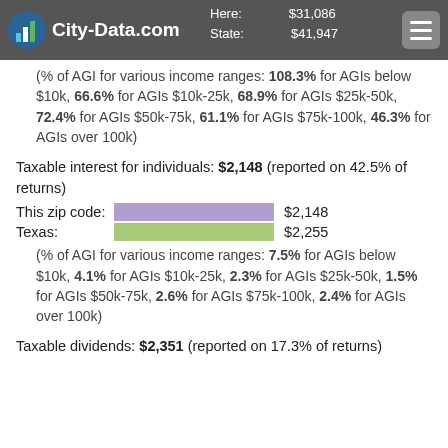City-Data.com | Here: $31,086 | State: $41,947
(% of AGI for various income ranges: 108.3% for AGIs below $10k, 66.6% for AGIs $10k-25k, 68.9% for AGIs $25k-50k, 72.4% for AGIs $50k-75k, 61.1% for AGIs $75k-100k, 46.3% for AGIs over 100k)
Taxable interest for individuals: $2,148 (reported on 42.5% of returns)
[Figure (bar-chart): Taxable interest for individuals]
(% of AGI for various income ranges: 7.5% for AGIs below $10k, 4.1% for AGIs $10k-25k, 2.3% for AGIs $25k-50k, 1.5% for AGIs $50k-75k, 2.6% for AGIs $75k-100k, 2.4% for AGIs over 100k)
Taxable dividends: $2,351 (reported on 17.3% of returns)